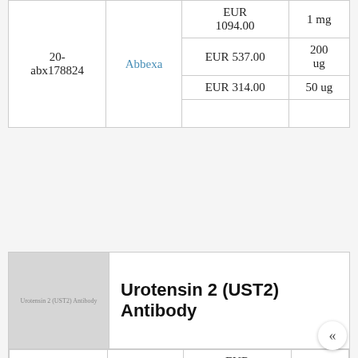| Catalog No. | Supplier | Price | Size |
| --- | --- | --- | --- |
| 20-abx178824 | Abbexa | EUR 133.00
EUR
1094.00
EUR 537.00
EUR 314.00 | 10 ug
1 mg
200
ug
50 ug |
[Figure (photo): Product image placeholder for Urotensin 2 (UST2) Antibody, gray rectangle with faint text]
Urotensin 2 (UST2) Antibody
| Catalog No. | Supplier | Price | Size |
| --- | --- | --- | --- |
| 20-abx178825 | Abbexa | EUR
1135.00
EUR 551.00 | 1 mg
200
ug |